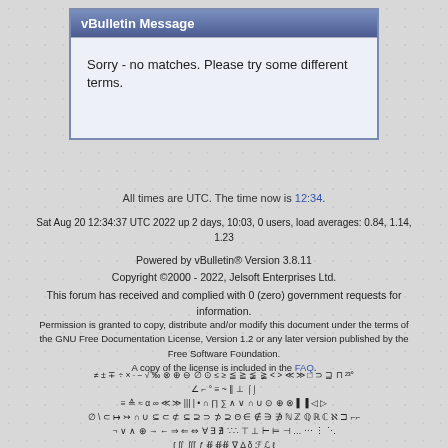vBulletin Message
Sorry - no matches. Please try some different terms.
All times are UTC. The time now is 12:34.
Sat Aug 20 12:34:37 UTC 2022 up 2 days, 10:03, 0 users, load averages: 0.84, 1.14, 1.23
Powered by vBulletin® Version 3.8.11
Copyright ©2000 - 2022, Jelsoft Enterprises Ltd.
This forum has received and complied with 0 (zero) government requests for information.
Permission is granted to copy, distribute and/or modify this document under the terms of the GNU Free Documentation License, Version 1.2 or any later version published by the Free Software Foundation.
A copy of the license is included in the FAQ.
≠ ± ∓ ÷ × · − √ ‰ ⊗ ⊕ ⊖ ∅ ⊙ ≤ ≥ ≦ ≧ ≨ ≩ < > ≪ ≫ ⊂ ⊃ ⊄ ⊅ ²³°
∠ ⌐ ° ≡ ~ ∥ ⊥ ⌠
≡ ≙ ≈ α ∞ ≪ ≫ ||| | • ∩ ⌡ ∑ ∧ ∨ ∩ ∪ ⊙ ⊕ ⊗ ▌▐ ◁ ▷
∅ \ ⊂ ↦ ↣ ∩ ∪ ⊆ ⊂ ⊄ ⊆ ⊇ ⊃ ⊅ ⊇ Θ ∈ ∉ ∋ ∌ ℕ ℤ ℚ ℝ ℂ ℵ ⊐ ⌐⌐
¬ ∨ ∧ ⊕ → ← ⇒ ⇐ ⇔ ∀ ∃ ∄ ∵∴ ⊤ ⊥ ⊢ ⊨ ⊣ … ⋯ ⋮ ⋱
∫ ∬ ∭ ƒ ∯ ∯∯ ∇ Δ δ ℱ ℒ ℓ